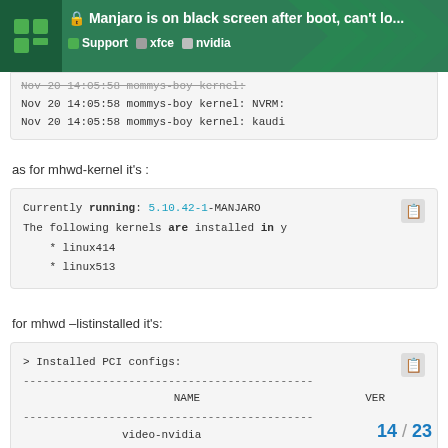Manjaro is on black screen after boot, can't lo... | Support | xfce | nvidia
Nov 20 14:05:58 mommys-boy kernel: NVRM:
Nov 20 14:05:58 mommys-boy kernel: kaudi
as for mhwd-kernel it's :
Currently running: 5.10.42-1-MANJARO
The following kernels are installed in y
    * linux414
    * linux513
for mhwd –listinstalled it's:
> Installed PCI configs:
--------------------------------------------
                    NAME                    VER
--------------------------------------------
               video-nvidia